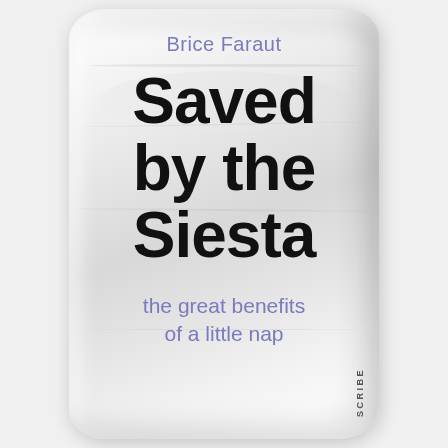[Figure (illustration): Book cover for 'Saved by the Siesta' by Brice Faraut, designed to look like a white pillow. The cover features the author's name in purple at the top, the main title 'Saved by the Siesta' in large black bold text in the center, the subtitle 'the great benefits of a little nap' in purple below, and the publisher name 'SCRIBE' in small vertical text at the bottom right. The entire cover is shaped and styled to resemble a white pillow with realistic shading and creases.]